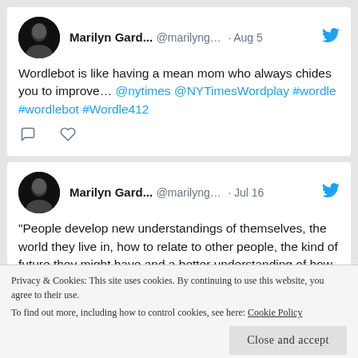Marilyn Gard... @marilyng... · Aug 5 — Wordlebot is like having a mean mom who always chides you to improve… @nytimes @NYTimesWordplay #wordle #wordlebot #Wordle412
Marilyn Gard... @marilyng... · Jul 16 — "People develop new understandings of themselves, the world they live in, how to relate to other people, the kind of future they might have and a better understanding of how to live life," Richard Tedeschi.
Privacy & Cookies: This site uses cookies. By continuing to use this website, you agree to their use. To find out more, including how to control cookies, see here: Cookie Policy